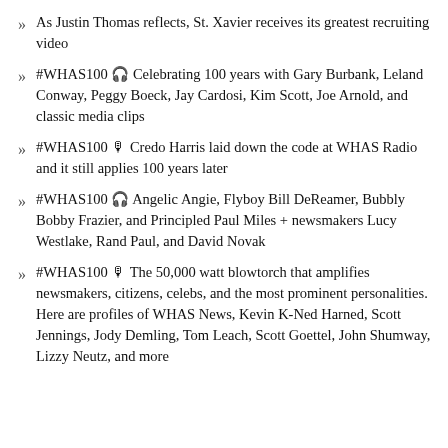As Justin Thomas reflects, St. Xavier receives its greatest recruiting video
#WHAS100 🎧 Celebrating 100 years with Gary Burbank, Leland Conway, Peggy Boeck, Jay Cardosi, Kim Scott, Joe Arnold, and classic media clips
#WHAS100 🎙 Credo Harris laid down the code at WHAS Radio and it still applies 100 years later
#WHAS100 🎧 Angelic Angie, Flyboy Bill DeReamer, Bubbly Bobby Frazier, and Principled Paul Miles + newsmakers Lucy Westlake, Rand Paul, and David Novak
#WHAS100 🎙 The 50,000 watt blowtorch that amplifies newsmakers, citizens, celebs, and the most prominent personalities. Here are profiles of WHAS News, Kevin K-Ned Harned, Scott Jennings, Jody Demling, Tom Leach, Scott Goettel, John Shumway, Lizzy Neutz, and more